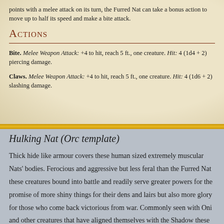points with a melee attack on its turn, the Furred Nat can take a bonus action to move up to half its speed and make a bite attack.
Actions
Bite. Melee Weapon Attack: +4 to hit, reach 5 ft., one creature. Hit: 4 (1d4 + 2) piercing damage.
Claws. Melee Weapon Attack: +4 to hit, reach 5 ft., one creature. Hit: 4 (1d6 + 2) slashing damage.
Hulking Nat (Orc template)
Thick hide like armour covers these human sized extremely muscular Nats' bodies. Ferocious and aggressive but less feral than the Furred Nat these creatures bound into battle and readily serve greater powers for the promise of more shiny things for their dens and lairs but also more glory for those who come back victorious from war. Commonly seen with Oni and other creatures that have aligned themselves with the Shadow these Fey are both common